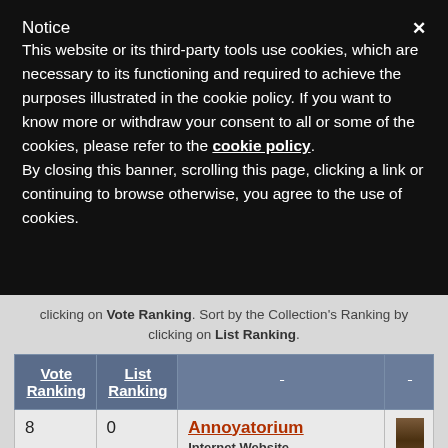Notice
This website or its third-party tools use cookies, which are necessary to its functioning and required to achieve the purposes illustrated in the cookie policy. If you want to know more or withdraw your consent to all or some of the cookies, please refer to the cookie policy.
By closing this banner, scrolling this page, clicking a link or continuing to browse otherwise, you agree to the use of cookies.
clicking on Vote Ranking. Sort by the Collection's Ranking by clicking on List Ranking.
| Vote Ranking | List Ranking |  |  |
| --- | --- | --- | --- |
| 8 | 0 | Annoyatorium
Internet Website
57.39% (66 of 115 |  |